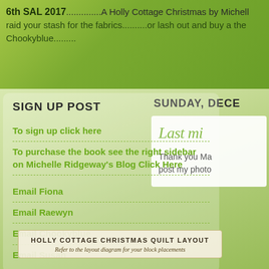6th SAL 2017..............A Holly Cottage Christmas by Michelle raid your stash for the fabrics..........or lash out and buy a the Chookyblue.........
SIGN UP POST
To sign up click here
To purchase the book see the right sidebar on Michelle Ridgeway's Blog Click Here
Email Fiona
Email Raewyn
Email Chookyblue
Email Susan
SUNDAY, DECE
Last mi
Thank you Ma post my photo
HOLLY COTTAGE CHRISTMAS QUILT LAYOUT
Refer to the layout diagram for your block placements